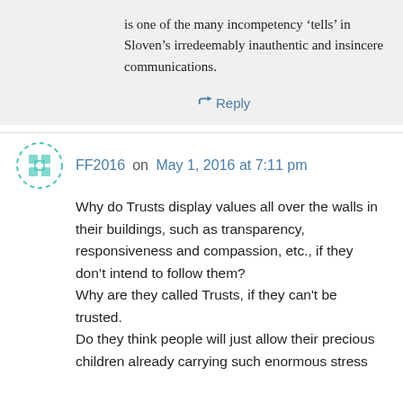is one of the many incompetency ‘tells’ in Sloven’s irredeemably inauthentic and insincere communications.
↪ Reply
FF2016 on May 1, 2016 at 7:11 pm
Why do Trusts display values all over the walls in their buildings, such as transparency, responsiveness and compassion, etc., if they don’t intend to follow them?
Why are they called Trusts, if they can't be trusted.
Do they think people will just allow their precious children already carrying such enormous stress on their little shoulders to be subjected to...